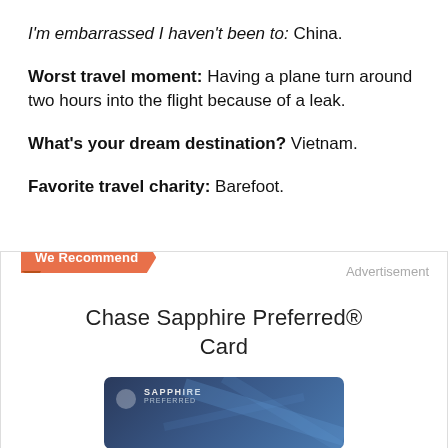I'm embarrassed I haven't been to: China.
Worst travel moment: Having a plane turn around two hours into the flight because of a leak.
What's your dream destination? Vietnam.
Favorite travel charity: Barefoot.
[Figure (other): Advertisement box for Chase Sapphire Preferred® Card with 'We Recommend' banner and a credit card image showing the Sapphire Preferred card design.]